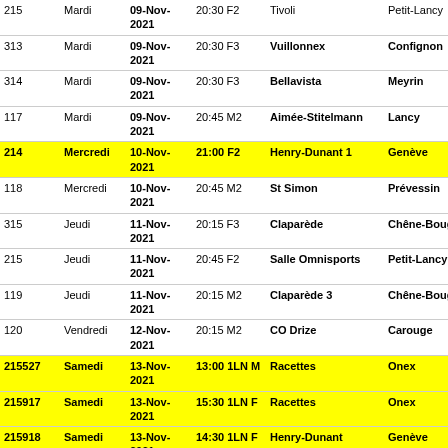|  | Jour | Date | Heure Cat | Salle | Localité |
| --- | --- | --- | --- | --- | --- |
| 215 | Mardi | 09-Nov-2021 | 20:30 F2 |  | Tivoli | Petit-Lancy |
| 313 | Mardi | 09-Nov-2021 | 20:30 F3 |  | Vuillonnex | Confignon |
| 314 | Mardi | 09-Nov-2021 | 20:30 F3 |  | Bellavista | Meyrin |
| 117 | Mardi | 09-Nov-2021 | 20:45 M2 |  | Aimée-Stitelmann | Lancy |
| 214 | Mercredi | 10-Nov-2021 | 21:00 F2 |  | Henry-Dunant 1 | Genève |
| 118 | Mercredi | 10-Nov-2021 | 20:45 M2 |  | St Simon | Prévessin |
| 315 | Jeudi | 11-Nov-2021 | 20:15 F3 |  | Claparède | Chêne-Bougeries |
| 215 | Jeudi | 11-Nov-2021 | 20:45 F2 |  | Salle Omnisports | Petit-Lancy |
| 119 | Jeudi | 11-Nov-2021 | 20:15 M2 |  | Claparède 3 | Chêne-Bougeries |
| 120 | Vendredi | 12-Nov-2021 | 20:15 M2 |  | CO Drize | Carouge |
| 215527 | Samedi | 13-Nov-2021 | 13:00 1LN M |  | Racettes | Onex |
| 215917 | Samedi | 13-Nov-2021 | 15:30 1LN F |  | Racettes | Onex |
| 215918 | Samedi | 13-Nov-2021 | 14:30 1LN F |  | Henry-Dunant | Genève |
| 214931 | Samedi | 13-Nov-2021 | 17:30 LNA F |  | Henry-Dunant | Genève |
| 222406 | Dimanche | 14-Nov-2021 | 15:00 Coupe CH M |  | Salle Omnisports | Petit-Lancy |
| SEMAINE |  |  |  |  |  |  |
| 121 | Lundi | 15-Nov-2021 | 20:00 M2 |  | Salle polyvalente | Troinex |
| 216 | Mardi | 16-Nov-2021 | 20:30 F2 |  | Tivoli | Petit-Lancy |
| 316 | Mardi | 16-Nov-2021 | 20:30 F3 |  | Vuillonnex | Confignon |